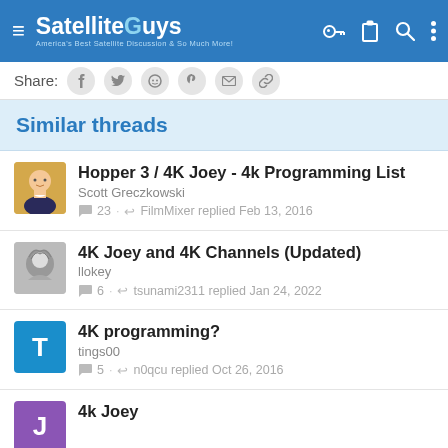SatelliteGuys — America's Best Satellite Discussion & So Much More!
Share:
Similar threads
Hopper 3 / 4K Joey - 4k Programming List — Scott Greczkowski — 23 · FilmMixer replied Feb 13, 2016
4K Joey and 4K Channels (Updated) — llokey — 6 · tsunami2311 replied Jan 24, 2022
4K programming? — tings00 — 5 · n0qcu replied Oct 26, 2016
4k Joey